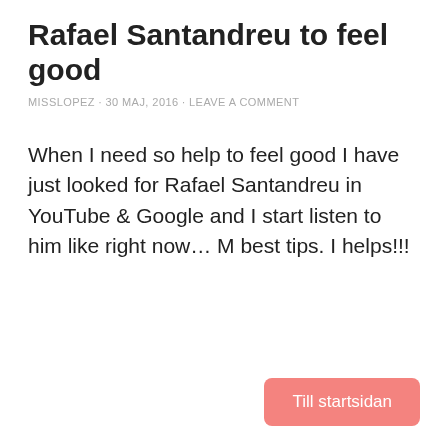Rafael Santandreu to feel good
MISSLOPEZ · 30 MAJ, 2016 · LEAVE A COMMENT
When I need so help to feel good I have just looked for Rafael Santandreu in YouTube & Google and I start listen to him like right now… M best tips. I helps!!!
Till startsidan